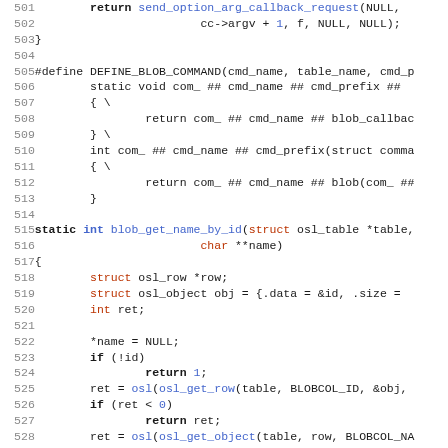[Figure (screenshot): Source code listing in C, lines 501-532, showing return statement, DEFINE_BLOB_COMMAND macro, and blob_get_name_by_id function definition with syntax highlighting (keywords in bold, types/functions in blue/red).]